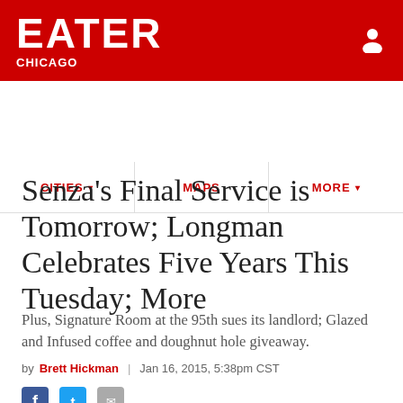EATER CHICAGO
CITIES ▾  MAPS  MORE ▾
Senza's Final Service is Tomorrow; Longman Celebrates Five Years This Tuesday; More
Plus, Signature Room at the 95th sues its landlord; Glazed and Infused coffee and doughnut hole giveaway.
by Brett Hickman  |  Jan 16, 2015, 5:38pm CST